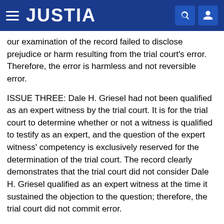JUSTIA
our examination of the record failed to disclose prejudice or harm resulting from the trial court's error. Therefore, the error is harmless and not reversible error.
ISSUE THREE: Dale H. Griesel had not been qualified as an expert witness by the trial court. It is for the trial court to determine whether or not a witness is qualified to testify as an expert, and the question of the expert witness' competency is exclusively reserved for the determination of the trial court. The record clearly demonstrates that the trial court did not consider Dale H. Griesel qualified as an expert witness at the time it sustained the objection to the question; therefore, the trial court did not commit error.
ISSUE FOUR: Miller's counsel had his answer to the question prior to the sustaining of the objection. The